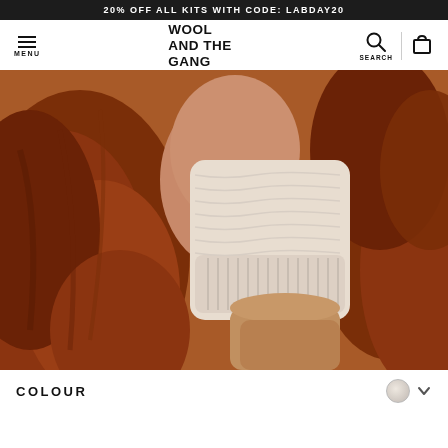20% OFF ALL KITS WITH CODE: LABDAY20
WOOL AND THE GANG
[Figure (photo): Close-up portrait of a woman with long curly red hair, holding up a cream/white knitted mitten/glove in front of her lower face. She is wearing a camel/tan coloured top. The background is blurred.]
COLOUR